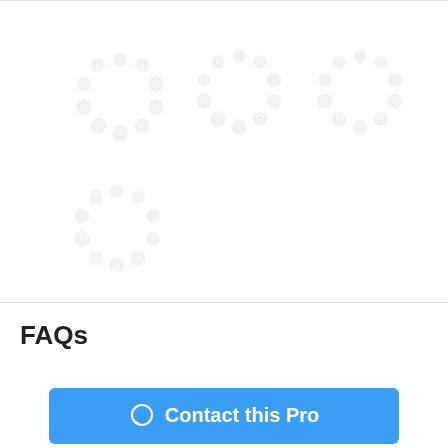[Figure (other): Loading spinner rings arranged in a 3x2 grid (4 visible spinners made of dots in circular patterns), light gray color, on white background]
FAQs
Contact this Pro